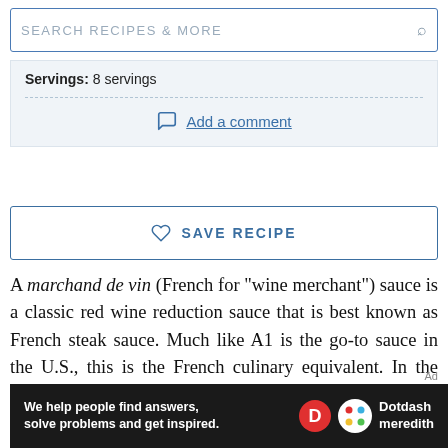SEARCH RECIPES & MORE
Servings: 8 servings
Add a comment
SAVE RECIPE
A marchand de vin (French for "wine merchant") sauce is a classic red wine reduction sauce that is best known as French steak sauce. Much like A1 is the go-to sauce in the U.S., this is the French culinary equivalent. In the most classic definition of "sauce," it is essentially a liquid
Ad
[Figure (other): Dotdash Meredith advertisement banner: We help people find answers, solve problems and get inspired.]